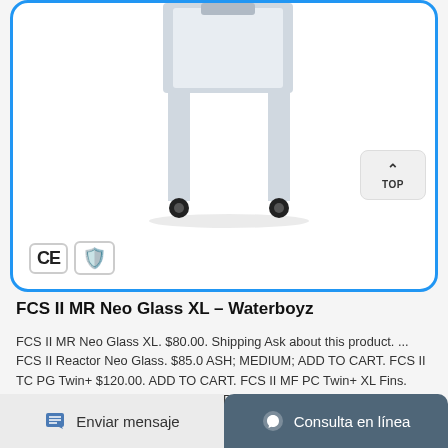[Figure (photo): Product image of industrial machine with gray metal frame on caster wheels, partially cropped from top. CE certification badge and gold shield/supplier badge visible in lower left of image frame.]
FCS II MR Neo Glass XL – Waterboyz
FCS II MR Neo Glass XL. $80.00. Shipping Ask about this product. ... FCS II Reactor Neo Glass. $85.00. ASH; MEDIUM; ADD TO CART. FCS II TC PG Twin+ $120.00. ADD TO CART. FCS II MF PC Twin+ XL Fins. $120.00. ADD TO CART. FCS II MB PC Carbon Tri Small. $130.00. ADD TO CART
Get Details →
Enviar mensaje   Consulta en línea